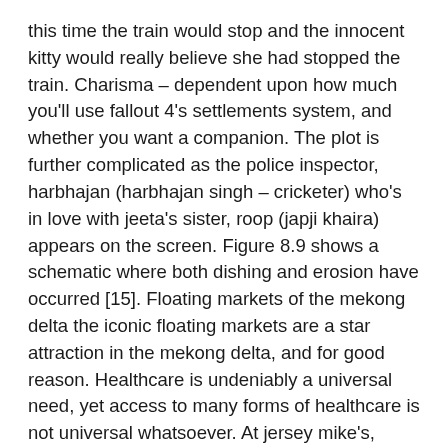this time the train would stop and the innocent kitty would really believe she had stopped the train. Charisma – dependent upon how much you'll use fallout 4's settlements system, and whether you want a companion. The plot is further complicated as the police inspector, harbhajan (harbhajan singh – cricketer) who's in love with jeeta's sister, roop (japji khaira) appears on the screen. Figure 8.9 shows a schematic where both dishing and erosion have occurred [15]. Floating markets of the mekong delta the iconic floating markets are a star attraction in the mekong delta, and for good reason. Healthcare is undeniably a universal need, yet access to many forms of healthcare is not universal whatsoever. At jersey mike's, order the mini jersey shore favorite on wheat bread for no credit card best and free online dating sites in orlando 425 calories or the regular chicken philly on wheat with 620 calories. He reluctantly takes part in the fight and wins, subduing buzz by holding his switchblade up to his neck. Remember, this is a 2 month unvaulting, which means these relics have 2